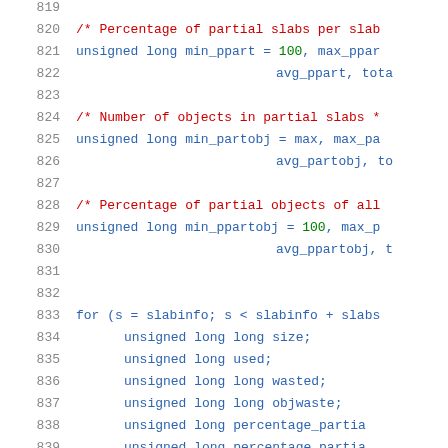Source code lines 819-839 showing C variable declarations and a for loop with slab info processing
819: (empty)
820: /* Percentage of partial slabs per slab
821: unsigned long min_ppart = 100, max_ppar
822: avg_ppart, tota
823: (empty)
824: /* Number of objects in partial slabs *
825: unsigned long min_partobj = max, max_pa
826: avg_partobj, to
827: (empty)
828: /* Percentage of partial objects of all
829: unsigned long min_ppartobj = 100, max_p
830: avg_ppartobj, t
831: (empty)
832: (empty)
833: for (s = slabinfo; s < slabinfo + slabs
834: unsigned long long size;
835: unsigned long used;
836: unsigned long long wasted;
837: unsigned long long objwaste;
838: unsigned long percentage_partia
839: unsigned long percentage_partia